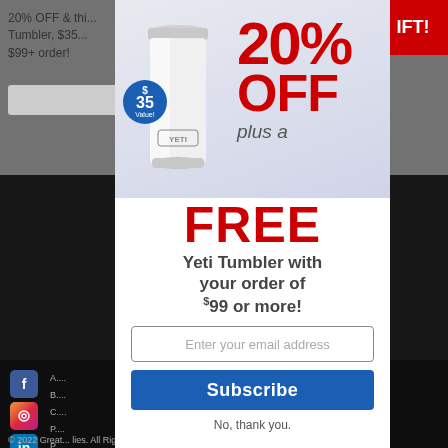20% OFF & this Yeti Tumbler, $35 Value! $99+ order!
[Figure (screenshot): Website page with a promotional modal popup offering 20% OFF plus a FREE Yeti Tumbler with orders of $99 or more. Shows social media icons (Facebook, Instagram, LinkedIn, YouTube) and footer text. The popup contains an email subscription form with a Subscribe button and No, thank you link.]
20% OFF plus a FREE Yeti Tumbler with your order of $99 or more!
Enter your email address
Subscribe
No, thank you.
© 2022 Great ... lies. All Rights